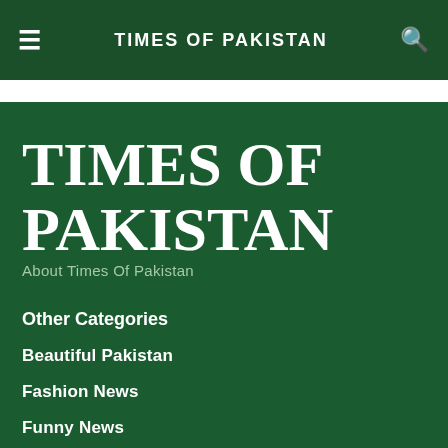TIMES OF PAKISTAN
TIMES OF PAKISTAN
About Times Of Pakistan
Other Categories
Beautiful Pakistan
Fashion News
Funny News
Viral Videos